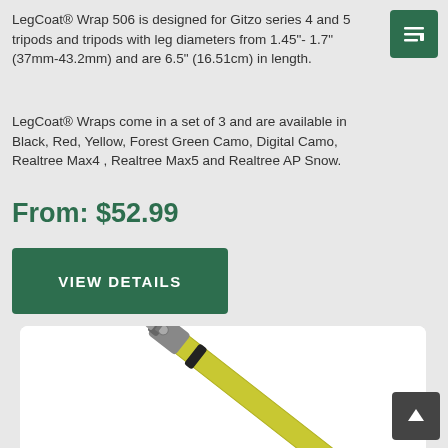LegCoat® Wrap 506 is designed for Gitzo series 4 and 5 tripods and tripods with leg diameters from 1.45"- 1.7" (37mm-43.2mm) and are 6.5" (16.51cm) in length.
LegCoat® Wraps come in a set of 3 and are available in Black, Red, Yellow, Forest Green Camo, Digital Camo, Realtree Max4 , Realtree Max5 and Realtree AP Snow.
From: $52.99
VIEW DETAILS
[Figure (photo): Yellow tripod leg wrap product photo showing a yellow coated tripod leg with a metal clasp/clip at the top, angled diagonally on a white background.]